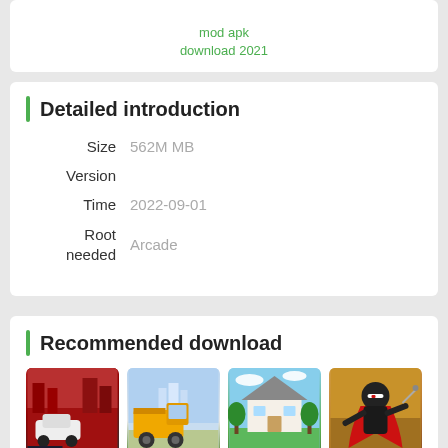mod apk download 2021
Detailed introduction
Size   562M MB
Version
Time   2022-09-01
Root needed   Arcade
Recommended download
[Figure (photo): Four app thumbnail images showing: racing cars in city, yellow dump truck, house with garden, ninja character]
[Figure (photo): Racing cars app thumbnail with red city background]
[Figure (photo): Yellow dump truck app thumbnail]
[Figure (photo): House with garden app thumbnail]
[Figure (photo): Ninja character app thumbnail]